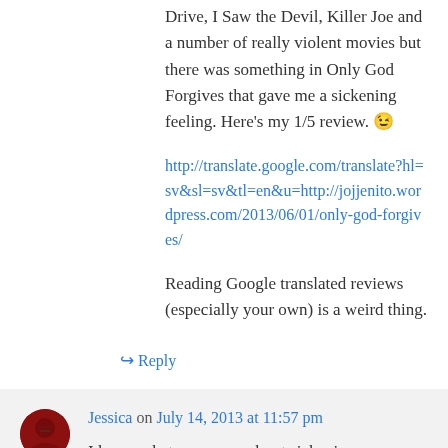Drive, I Saw the Devil, Killer Joe and a number of really violent movies but there was something in Only God Forgives that gave me a sickening feeling. Here’s my 1/5 review. 😉
http://translate.google.com/translate?hl=sv&sl=sv&tl=en&u=http://jojjenito.wordpress.com/2013/06/01/only-god-forgives/
Reading Google translated reviews (especially your own) is a weird thing.
↪ Reply
Jessica on July 14, 2013 at 11:57 pm
I know what you mean about sickening… I’m almost a little surprised at myself how